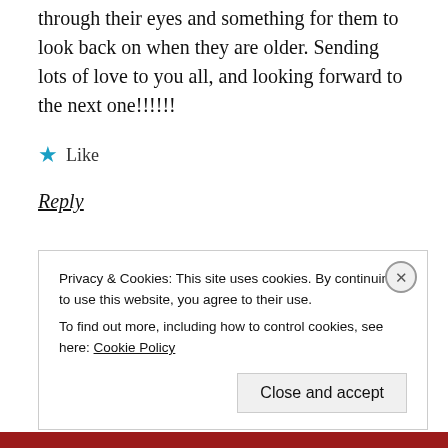through their eyes and something for them to look back on when they are older. Sending lots of love to you all, and looking forward to the next one!!!!!!
★ Like
Reply
••••••••••
[Figure (logo): Green and white logo with arrow design, next to italic author name 'naultuse']
Privacy & Cookies: This site uses cookies. By continuing to use this website, you agree to their use.
To find out more, including how to control cookies, see here: Cookie Policy
Close and accept